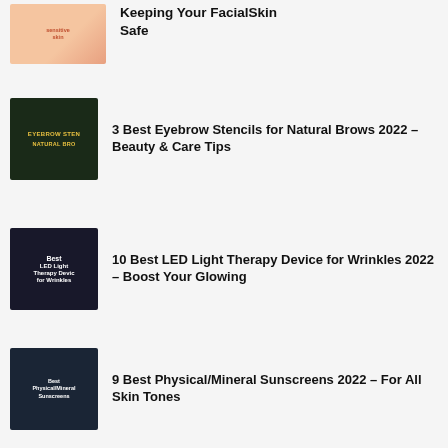Keeping Your FacialSkin Safe
3 Best Eyebrow Stencils for Natural Brows 2022 – Beauty & Care Tips
10 Best LED Light Therapy Device for Wrinkles 2022 – Boost Your Glowing
9 Best Physical/Mineral Sunscreens 2022 – For All Skin Tones